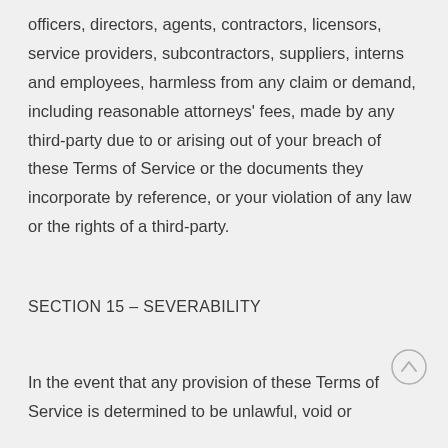officers, directors, agents, contractors, licensors, service providers, subcontractors, suppliers, interns and employees, harmless from any claim or demand, including reasonable attorneys' fees, made by any third-party due to or arising out of your breach of these Terms of Service or the documents they incorporate by reference, or your violation of any law or the rights of a third-party.
SECTION 15 – SEVERABILITY
In the event that any provision of these Terms of Service is determined to be unlawful, void or